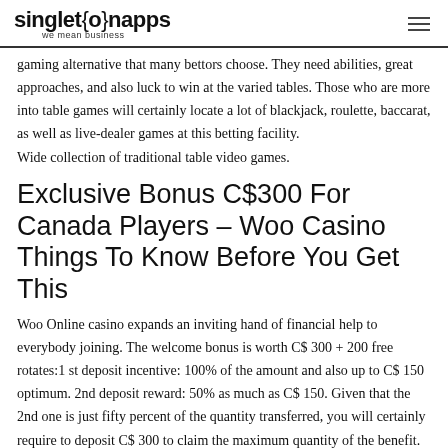singleto{n}apps we mean business
gaming alternative that many bettors choose. They need abilities, great approaches, and also luck to win at the varied tables. Those who are more into table games will certainly locate a lot of blackjack, roulette, baccarat, as well as live-dealer games at this betting facility.
Wide collection of traditional table video games.
Exclusive Bonus C$300 For Canada Players – Woo Casino Things To Know Before You Get This
Woo Online casino expands an inviting hand of financial help to everybody joining. The welcome bonus is worth C$ 300 + 200 free rotates:1 st deposit incentive: 100% of the amount and also up to C$ 150 optimum. 2nd deposit reward: 50% as much as C$ 150. Given that the 2nd one is just fifty percent of the quantity transferred, you will certainly require to deposit C$ 300 to claim the maximum quantity of the benefit.